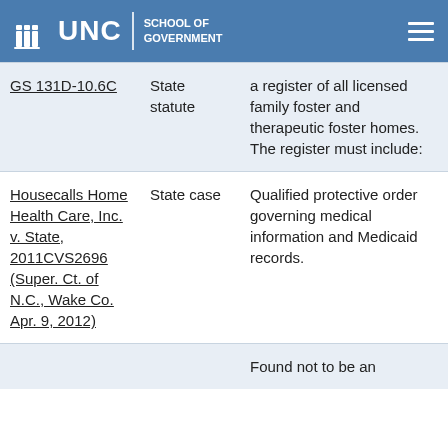UNC School of Government
| Reference | Type | Description |
| --- | --- | --- |
| GS 131D-10.6C | State statute | a register of all licensed family foster and therapeutic foster homes. The register must include: |
| Housecalls Home Health Care, Inc. v. State, 2011CVS2696 (Super. Ct. of N.C., Wake Co. Apr. 9, 2012) | State case | Qualified protective order governing medical information and Medicaid records. |
|  |  | Found not to be an |